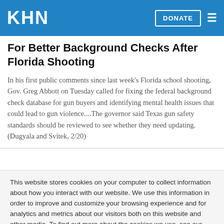KHN | DONATE
For Better Background Checks After Florida Shooting
In his first public comments since last week's Florida school shooting, Gov. Greg Abbott on Tuesday called for fixing the federal background check database for gun buyers and identifying mental health issues that could lead to gun violence....The governor said Texas gun safety standards should be reviewed to see whether they need updating. (Dugyala and Svitek, 2/20)
This website stores cookies on your computer to collect information about how you interact with our website. We use this information in order to improve and customize your browsing experience and for analytics and metrics about our visitors both on this website and other media. To find out more about the cookies we use, see our Privacy Policy.
Accept